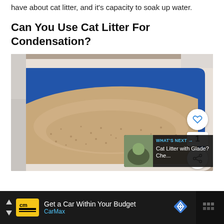have about cat litter, and it's capacity to soak up water.
Can You Use Cat Litter For Condensation?
[Figure (photo): A blue and white cat litter box filled with sandy/granular cat litter, viewed from above at an angle. Overlay UI elements include a heart/favorite button, a share button, a number '1', and a 'What's Next' panel showing a thumbnail for 'Cat Litter with Glade? Che...']
[Figure (other): An advertisement bar at the bottom: CarMax logo in yellow, text 'Get a Car Within Your Budget', 'CarMax' in blue, a blue diamond navigation icon, and a dark widget area on the right.]